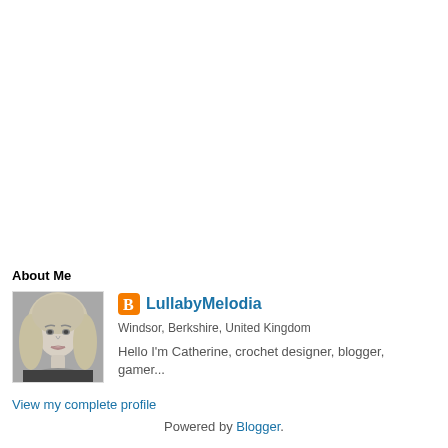About Me
[Figure (photo): Black and white portrait photo of a blonde woman]
LullabyMelodia
Windsor, Berkshire, United Kingdom
Hello I'm Catherine, crochet designer, blogger, gamer...
View my complete profile
Powered by Blogger.